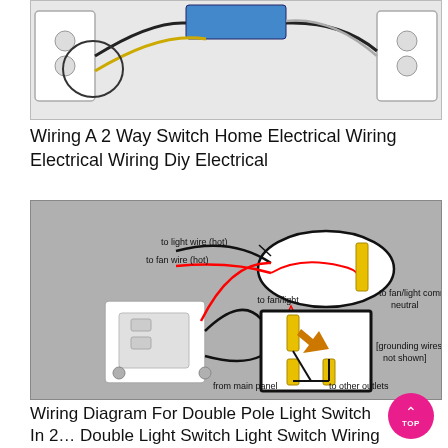[Figure (schematic): Partial wiring diagram showing a 2 way switch home electrical wiring setup with outlets, colored wires and connections visible at top of page.]
Wiring A 2 Way Switch Home Electrical Wiring Electrical Wiring Diy Electrical
[Figure (schematic): Wiring diagram for double pole light switch showing switch, junction box, colored wires (black, red, white/yellow), labeled: to light wire (hot), to fan wire (hot), to fan/light, to fan/light common neutral, from main panel, to other outlets, [grounding wires not shown].]
Wiring Diagram For Double Pole Light Switch In 2… Double Light Switch Light Switch Wiring Light Switch